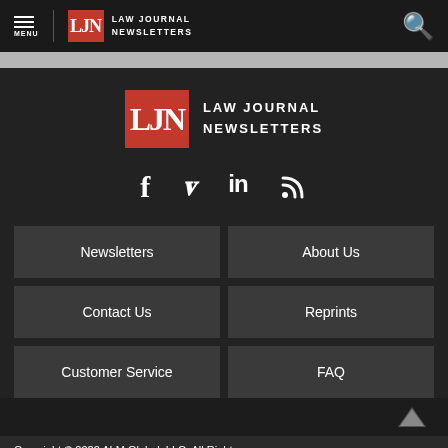MENU | LJN LAW JOURNAL NEWSLETTERS
[Figure (logo): LJN Law Journal Newsletters large centered logo on dark background]
[Figure (infographic): Social media icons row: Facebook, Twitter, LinkedIn, RSS]
Newsletters
About Us
Contact Us
Reprints
Customer Service
FAQ
Copyright © 2022 ALM Global, LLC. All Rights